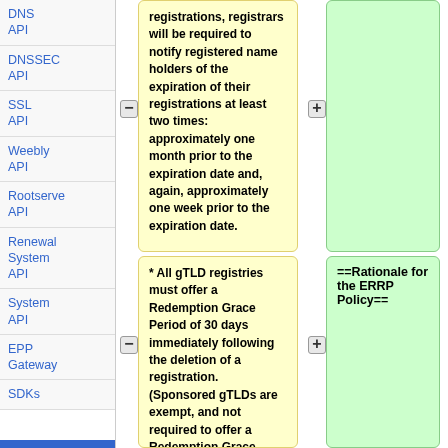DNS API
DNSSEC API
SSL API
Weebly API
Rootserve API
Renewal System API
System API
EPP Gateway
SDKs
registrations, registrars will be required to notify registered name holders of the expiration of their registrations at least two times: approximately one month prior to the expiration date and, again, approximately one week prior to the expiration date.
* All gTLD registries must offer a Redemption Grace Period of 30 days immediately following the deletion of a registration. (Sponsored gTLDs are exempt, and not required to offer a Redemption Grace Period.)  During the Redemption Grace Period, the registrant must be permitted by its registrar to restore the deleted registration.
==Rationale for the ERRP Policy==